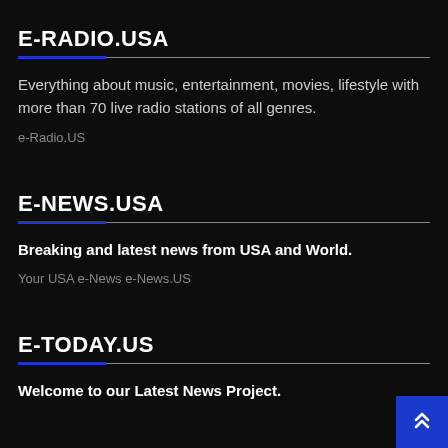E-RADIO.USA
Everything about music, entertainment, movies, lifestyle with more than 70 live radio stations of all genres.
e-Radio.US
E-NEWS.USA
Breaking and latest news from USA and World.
Your USA e-News e-News.US
E-TODAY.US
Welcome to our Latest News Project.